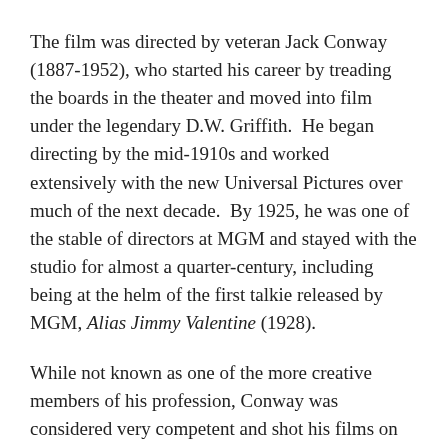The film was directed by veteran Jack Conway (1887-1952), who started his career by treading the boards in the theater and moved into film under the legendary D.W. Griffith.  He began directing by the mid-1910s and worked extensively with the new Universal Pictures over much of the next decade.  By 1925, he was one of the stable of directors at MGM and stayed with the studio for almost a quarter-century, including being at the helm of the first talkie released by MGM, Alias Jimmy Valentine (1928).
While not known as one of the more creative members of his profession, Conway was considered very competent and shot his films on time and on budget. He worked several times with Clark Gable and his best-regarded picture was 1935's A Tale of Two Cities, taking on the Charles Dickens classic.  Conway, who was